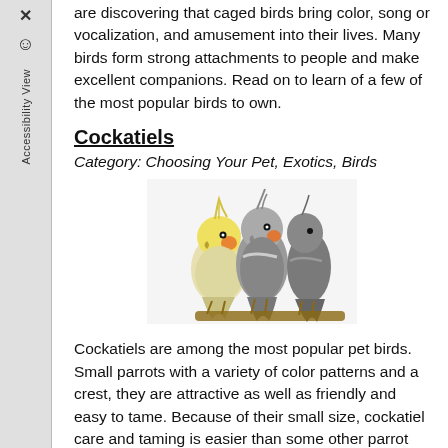are discovering that caged birds bring color, song or vocalization, and amusement into their lives. Many birds form strong attachments to people and make excellent companions. Read on to learn of a few of the most popular birds to own.
Cockatiels
Category: Choosing Your Pet, Exotics, Birds
[Figure (photo): Three cockatiels perched together — one yellow/white with orange cheek, two grey with crests, on a branch against white background]
Cockatiels are among the most popular pet birds. Small parrots with a variety of color patterns and a crest, they are attractive as well as friendly and easy to tame. Because of their small size, cockatiel care and taming is easier than some other parrot species. They are capable of mimicking speech,
Read more